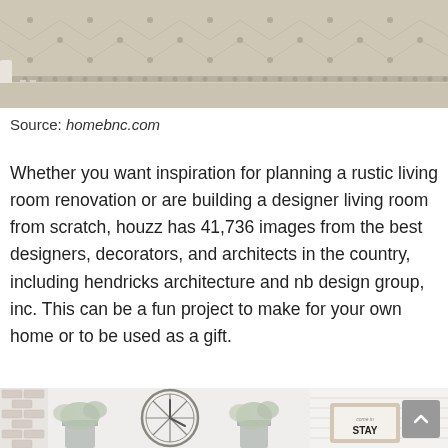[Figure (photo): Partial view of a tufted upholstered furniture piece (ottoman or bed) with a white/cream frame on a beige carpet, with a small round side table visible on the left.]
Source: homebnc.com
Whether you want inspiration for planning a rustic living room renovation or are building a designer living room from scratch, houzz has 41,736 images from the best designers, decorators, and architects in the country, including hendricks architecture and nb design group, inc. This can be a fun project to make for your own home or to be used as a gift.
[Figure (photo): Interior decor scene showing a large metal skeleton wall clock, two galvanized metal vase planters with faux greenery/eucalyptus, and a framed sign reading 'come in STAY' on a shiplap white wall background.]